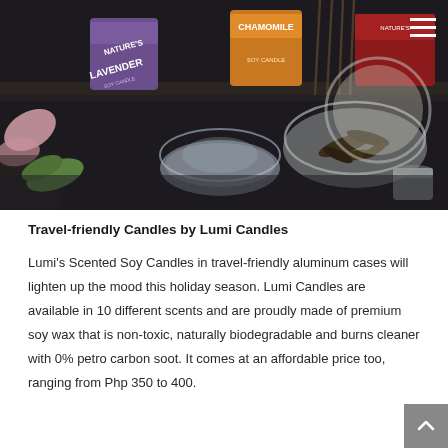[Figure (photo): Overhead/shelf view of scented candle products including Lavender and Chamomile varieties in colorful aluminum tins, alongside glass bowls containing dried botanicals/tea leaves, arranged on a dark surface]
Travel-friendly Candles by Lumi Candles
Lumi's Scented Soy Candles in travel-friendly aluminum cases will lighten up the mood this holiday season. Lumi Candles are available in 10 different scents and are proudly made of premium soy wax that is non-toxic, naturally biodegradable and burns cleaner with 0% petro carbon soot. It comes at an affordable price too, ranging from Php 350 to 400.